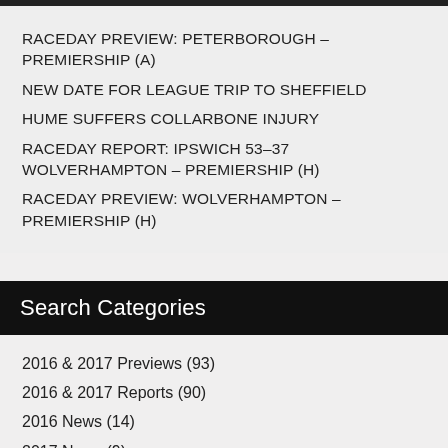RACEDAY PREVIEW: PETERBOROUGH – PREMIERSHIP (A)
NEW DATE FOR LEAGUE TRIP TO SHEFFIELD
HUME SUFFERS COLLARBONE INJURY
RACEDAY REPORT: IPSWICH 53–37 WOLVERHAMPTON – PREMIERSHIP (H)
RACEDAY PREVIEW: WOLVERHAMPTON – PREMIERSHIP (H)
Search Categories
2016 & 2017 Previews (93)
2016 & 2017 Reports (90)
2016 News (14)
2017 News (9)